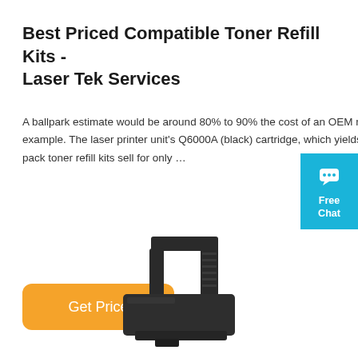Best Priced Compatible Toner Refill Kits - Laser Tek Services
A ballpark estimate would be around 80% to 90% the cost of an OEM replacement toner cartridge. Let’s take the HP 1600 color laser printer as example. The laser printer unit’s Q6000A (black) cartridge, which yields 2500 pages retails for around $75. On the other hand, the brand single pack toner refill kits sell for only …
[Figure (other): Orange rounded rectangle button with white text reading 'Get Price']
[Figure (other): Blue chat widget on right edge with speech bubble icon and text 'Free Chat']
[Figure (photo): Black toner cartridge photographed at an angle, bottom of page]